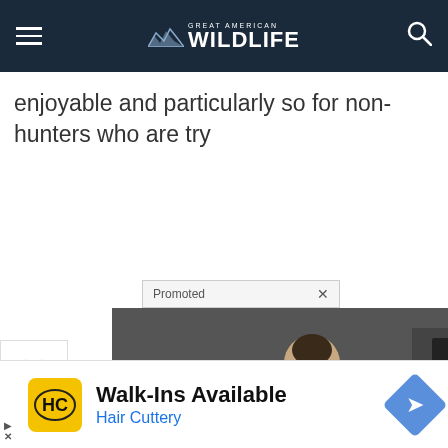Great American Wildlife
enjoyable and particularly so for non-hunters who are try
[Figure (screenshot): Promoted ad banner with two image ads: left shows a person sitting on a bed in a room, right shows medical/anatomical diagrams of the human body with red highlighted areas]
[Figure (screenshot): Bottom advertisement: Hair Cuttery - Walk-Ins Available, with HC yellow logo and directions icon]